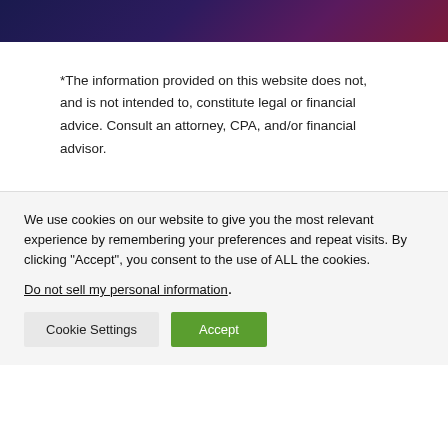[Figure (photo): Dark gradient banner image with purple and dark blue tones]
*The information provided on this website does not, and is not intended to, constitute legal or financial advice. Consult an attorney, CPA, and/or financial advisor.
We use cookies on our website to give you the most relevant experience by remembering your preferences and repeat visits. By clicking “Accept”, you consent to the use of ALL the cookies.
Do not sell my personal information.
Cookie Settings
Accept